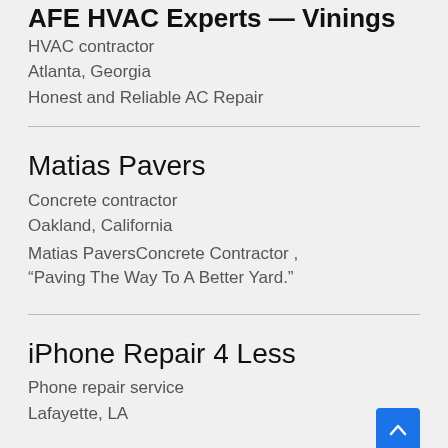AFE HVAC Experts — Vinings
HVAC contractor
Atlanta, Georgia
Honest and Reliable AC Repair
Matias Pavers
Concrete contractor
Oakland, California
Matias PaversConcrete Contractor , “Paving The Way To A Better Yard.”
iPhone Repair 4 Less
Phone repair service
Lafayette, LA